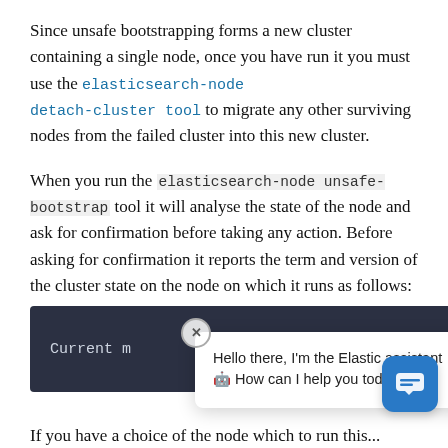Since unsafe bootstrapping forms a new cluster containing a single node, once you have run it you must use the elasticsearch-node detach-cluster tool to migrate any other surviving nodes from the failed cluster into this new cluster.
When you run the elasticsearch-node unsafe-bootstrap tool it will analyse the state of the node and ask for confirmation before taking any action. Before asking for confirmation it reports the term and version of the cluster state on the node on which it runs as follows:
[Figure (screenshot): Dark terminal block showing 'Current m... version' text, partially obscured by a chat popup from 'the Elastic assistant' saying 'Hello there, I'm the Elastic assistant. How can I help you today?' with a close button, and a blue chat icon button in the bottom right.]
If you have a choice of the node which to run this...